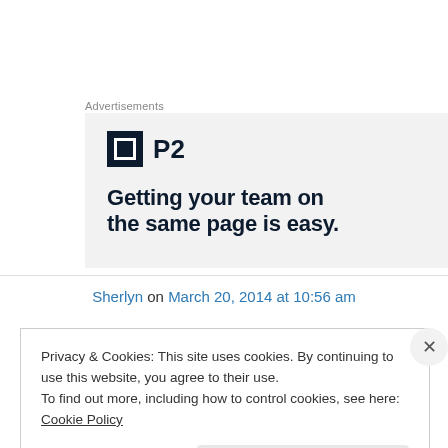Advertisements
[Figure (logo): P2 advertisement banner with logo and headline: Getting your team on the same page is easy.]
Sherlyn on March 20, 2014 at 10:56 am
Privacy & Cookies: This site uses cookies. By continuing to use this website, you agree to their use. To find out more, including how to control cookies, see here: Cookie Policy
Close and accept